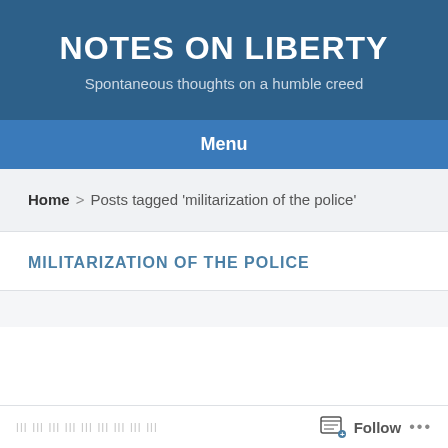NOTES ON LIBERTY
Spontaneous thoughts on a humble creed
Menu
Home > Posts tagged 'militarization of the police'
MILITARIZATION OF THE POLICE
Follow ...